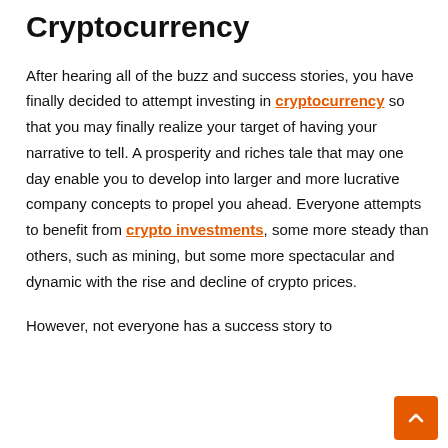Cryptocurrency
After hearing all of the buzz and success stories, you have finally decided to attempt investing in cryptocurrency so that you may finally realize your target of having your narrative to tell. A prosperity and riches tale that may one day enable you to develop into larger and more lucrative company concepts to propel you ahead. Everyone attempts to benefit from crypto investments, some more steady than others, such as mining, but some more spectacular and dynamic with the rise and decline of crypto prices.

However, not everyone has a success story to